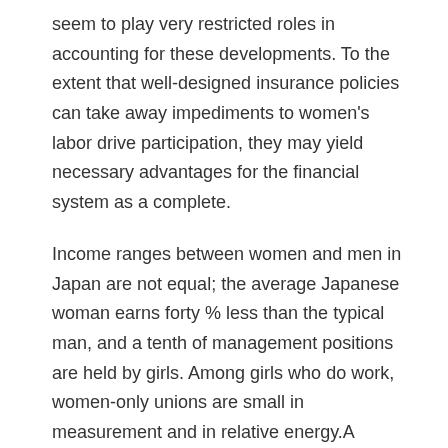seem to play very restricted roles in accounting for these developments. To the extent that well-designed insurance policies can take away impediments to women's labor drive participation, they may yield necessary advantages for the financial system as a complete.
Income ranges between women and men in Japan are not equal; the average Japanese woman earns forty % less than the typical man, and a tenth of management positions are held by girls. Among girls who do work, women-only unions are small in measurement and in relative energy.A common occupation for younger women is that of office woman, that is, a feminine workplace employee who performs usually pink collar duties similar to serving tea and secretarial or clerical work. This study confirmed the constructive effects of equol on menopausal signs and was the first report, to our information, based mostly on a prospective randomized, double-blind, placebo-controlled research. Thus, natural S-equol, a novel soybean-derived practical